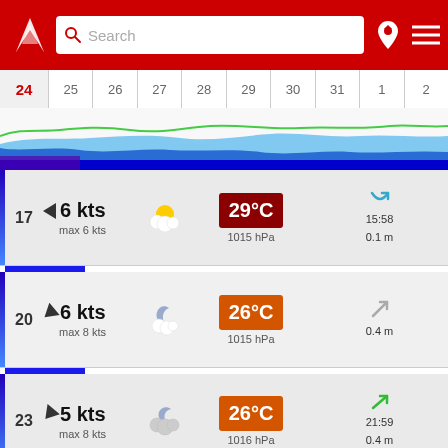[Figure (screenshot): App header with red background, logo, search bar, and navigation icons]
[Figure (infographic): Date strip showing dates 24-2 with wave/tide chart below]
17  6 kts  max 6 kts  29°C  1015 hPa  15:58  0.1 m
20  6 kts  max 8 kts  26°C  1015 hPa  0.4 m
23  5 kts  max 8 kts  26°C  1016 hPa  21:59  0.4 m
Thursday, Aug 25
Wind    Weather    Tides
02  7 kts  max 11 kts  25°C  1017 hPa  0.2 m